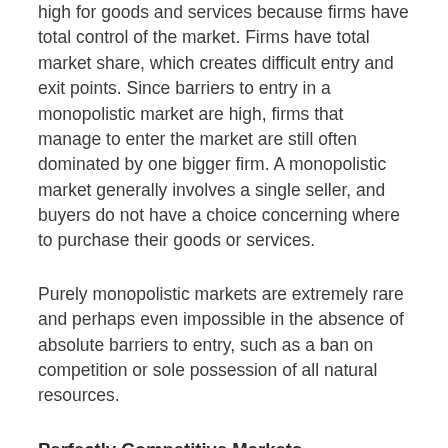high for goods and services because firms have total control of the market. Firms have total market share, which creates difficult entry and exit points. Since barriers to entry in a monopolistic market are high, firms that manage to enter the market are still often dominated by one bigger firm. A monopolistic market generally involves a single seller, and buyers do not have a choice concerning where to purchase their goods or services.
Purely monopolistic markets are extremely rare and perhaps even impossible in the absence of absolute barriers to entry, such as a ban on competition or sole possession of all natural resources.
Perfectly Competitive Markets
In a market that experiences perfect competition,